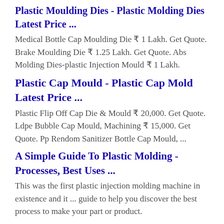Plastic Moulding Dies - Plastic Molding Dies Latest Price ...
Medical Bottle Cap Moulding Die ₹ 1 Lakh. Get Quote. Brake Moulding Die ₹ 1.25 Lakh. Get Quote. Abs Molding Dies-plastic Injection Mould ₹ 1 Lakh.
Plastic Cap Mould - Plastic Cap Mold Latest Price ...
Plastic Flip Off Cap Die & Mould ₹ 20,000. Get Quote. Ldpe Bubble Cap Mould, Machining ₹ 15,000. Get Quote. Pp Rendom Sanitizer Bottle Cap Mould, ...
A Simple Guide To Plastic Molding - Processes, Best Uses ...
This was the first plastic injection molding machine in existence and it ... guide to help you discover the best process to make your part or product.
Basics of Injection Molding Design | 3D Systems